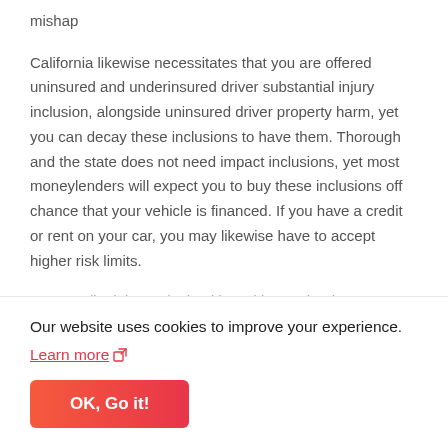mishap
California likewise necessitates that you are offered uninsured and underinsured driver substantial injury inclusion, alongside uninsured driver property harm, yet you can decay these inclusions to have them. Thorough and the state does not need impact inclusions, yet most moneylenders will expect you to buy these inclusions off chance that your vehicle is financed. If you have a credit or rent on your car, you may likewise have to accept higher risk limits.
It you well might merit checking with your bank
Our website uses cookies to improve your experience.
Learn more
OK, Go it!